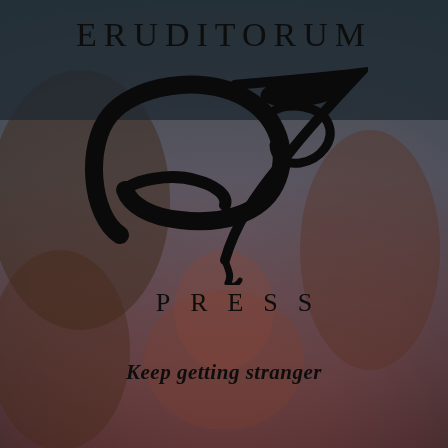[Figure (logo): Eruditorum Press logo page with darkened background image showing classical figures. Contains the text ERUDITORUM at top, a stylized EP calligraphic logo in the center, PRESS below it, and the tagline 'Keep getting stranger' at the bottom.]
ERUDITORUM
P R E S S
Keep getting stranger